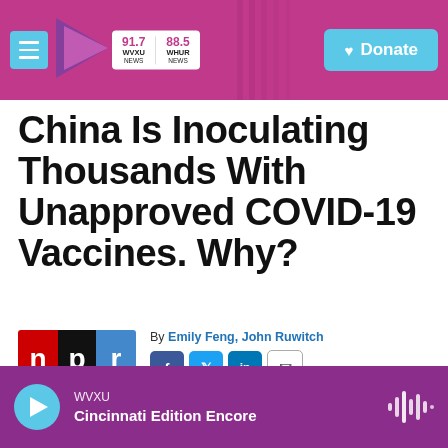WVXU 91.7 | WHUR 88.5 | Donate
China Is Inoculating Thousands With Unapproved COVID-19 Vaccines. Why?
By Emily Feng, John Ruwitch
Published November 12, 2020 at 7:52 AM EST
[Figure (logo): NPR logo — red, black, blue rectangular logo]
WVXU Cincinnati Edition Encore